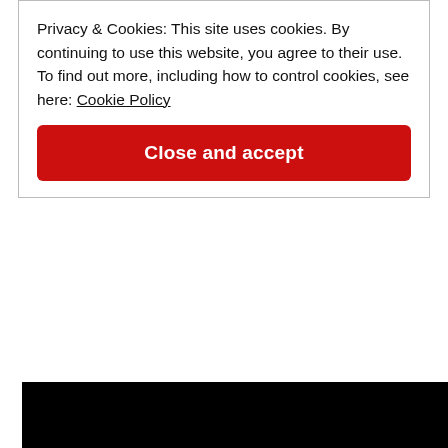Privacy & Cookies: This site uses cookies. By continuing to use this website, you agree to their use.
To find out more, including how to control cookies, see here: Cookie Policy
Close and accept
hear more from someone who is friends with Snoop Dog and business partners with Michael Strahan? In We Only F*ck with Hall of Famers Erika chats with a NYC pal of mine from back in the day, Con Schwartz of SMAC Entertainment.
TOP Podcast Stay Tuned with Preet
[Figure (other): Black video thumbnail area at bottom of page]